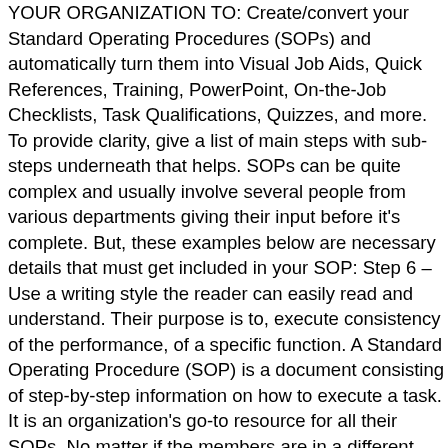YOUR ORGANIZATION TO: Create/convert your Standard Operating Procedures (SOPs) and automatically turn them into Visual Job Aids, Quick References, Training, PowerPoint, On-the-Job Checklists, Task Qualifications, Quizzes, and more. To provide clarity, give a list of main steps with sub-steps underneath that helps. SOPs can be quite complex and usually involve several people from various departments giving their input before it's complete. But, these examples below are necessary details that must get included in your SOP: Step 6 – Use a writing style the reader can easily read and understand. Their purpose is to, execute consistency of the performance, of a specific function. A Standard Operating Procedure (SOP) is a document consisting of step-by-step information on how to execute a task. It is an organization's go-to resource for all their SOPs. No matter if the members are in a different department or work from home, they all can access the team site when it's convenient for them and keep updated on the latest news. By default, the navigation tree displays folders. !!!!! Your personnel must get SOP tested, especially by the people who will use it, and guarantee comments are taken on board and updated within the SOP as needed and required. Click Next to configure workflow-specific settings, as necessary. The most recent version is stored on MORU-internal Sharepoint system. Page 1 ! SharePoint